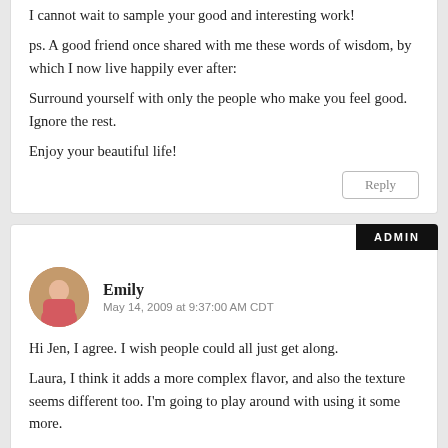I cannot wait to sample your good and interesting work!
ps. A good friend once shared with me these words of wisdom, by which I now live happily ever after:
Surround yourself with only the people who make you feel good. Ignore the rest.
Enjoy your beautiful life!
Reply
ADMIN
Emily
May 14, 2009 at 9:37:00 AM CDT
Hi Jen, I agree. I wish people could all just get along.
Laura, I think it adds a more complex flavor, and also the texture seems different too. I'm going to play around with using it some more.